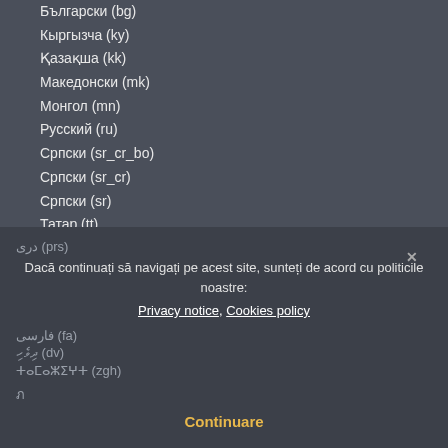Български (bg)
Кыргызча (ky)
Қазақша (kk)
Македонски (mk)
Монгол (mn)
Русский (ru)
Српски (sr_cr_bo)
Српски (sr_cr)
Српски (sr)
Татар (tt)
Тоҷикӣ (tg)
Українська (uk)
ქართული (ka)
Հայերեն (hy)
עברית (he)
ئۇيغۇرچە (ug_ug)
اردو (ur)
العربية (ar)
پښتو (ps)
دری (prs)
فارسی (fa)
ދިވެހި (dv)
ⵜⴰⵎⴰⵣⵉⵖⵜ (zgh)
ภาษาไทย (th)
Dacă continuați să navigați pe acest site, sunteți de acord cu politicile noastre: Privacy notice, Cookies policy
Continuare